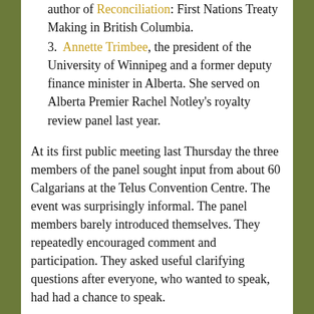author of Reconciliation: First Nations Treaty Making in British Columbia.
Annette Trimbee, the president of the University of Winnipeg and a former deputy finance minister in Alberta. She served on Alberta Premier Rachel Notley's royalty review panel last year.
At its first public meeting last Thursday the three members of the panel sought input from about 60 Calgarians at the Telus Convention Centre. The event was surprisingly informal. The panel members barely introduced themselves. They repeatedly encouraged comment and participation. They asked useful clarifying questions after everyone, who wanted to speak, had had a chance to speak.
Most participants expressed the opinions that you'd expect from Calgarians:
The NEB has conducted a thorough, competent, and likely excessive, application process.
It's time to move ahead with construction and operation. Canada needs the economic and employment benefits.
Blocking pipelines in the interests of slowing climate change won't actually work because oil will simply be